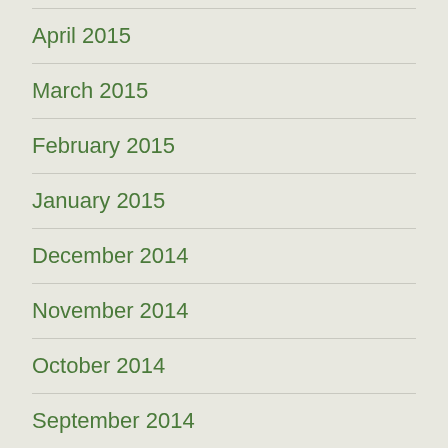April 2015
March 2015
February 2015
January 2015
December 2014
November 2014
October 2014
September 2014
August 2014
July 2014
Categories
art
body